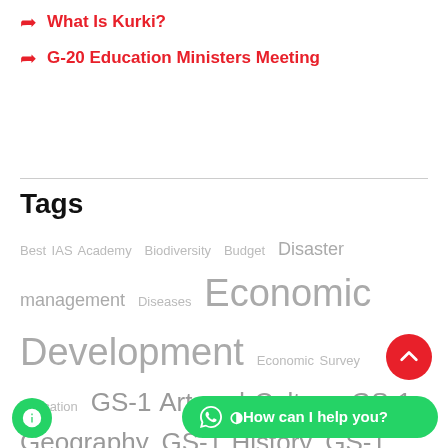What Is Kurki?
G-20 Education Ministers Meeting
Tags
Best IAS Academy Biodiversity Budget Disaster management Diseases Economic Development Economic Survey Education GS-1 Art and Culture GS-1 Geography GS-1 History GS-1 Indian Society GS-2 Agriculture GS-2 Bilateral GS-2 Environment and Ecology GS-2 Executive and judiciary GS-2 Geography GS-2 Governance GS-2 Health GS-2 Indian Constitution GS-2 Indian Economy GS-2 International Relations GS-2 Policy